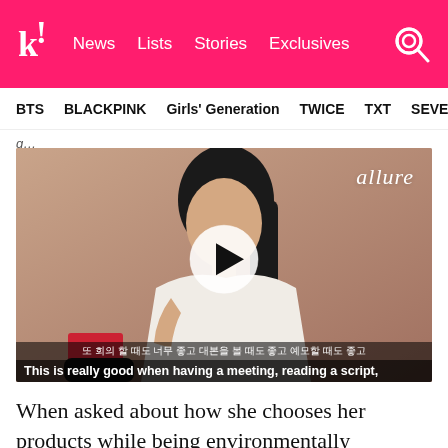k! News  Lists  Stories  Exclusives
BTS  BLACKPINK  Girls' Generation  TWICE  TXT  SEVE
[Figure (screenshot): Video thumbnail from Allure magazine featuring a young Asian woman in a white blazer against a beige background, with a circular play button overlay and Korean/English subtitles at the bottom reading 'This is really good when having a meeting, reading a script,']
When asked about how she chooses her products while being environmentally conscious, Yuri shared that she takes great effort while